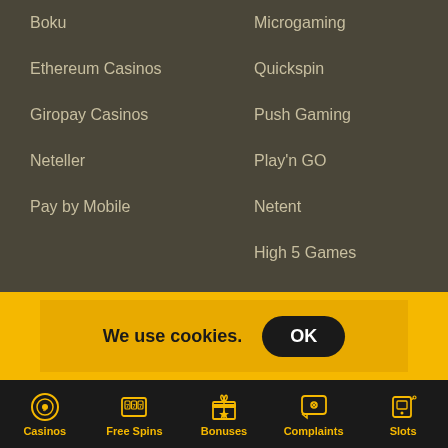Boku
Microgaming
Ethereum Casinos
Quickspin
Giropay Casinos
Push Gaming
Neteller
Play'n GO
Pay by Mobile
Netent
High 5 Games
We use cookies.
OK
Casinos | Free Spins | Bonuses | Complaints | Slots